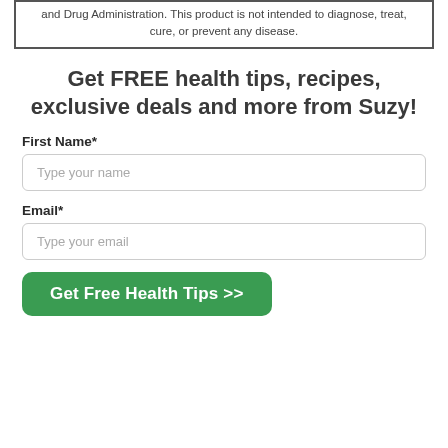and Drug Administration. This product is not intended to diagnose, treat, cure, or prevent any disease.
Get FREE health tips, recipes, exclusive deals and more from Suzy!
First Name*
Type your name
Email*
Type your email
Get Free Health Tips >>